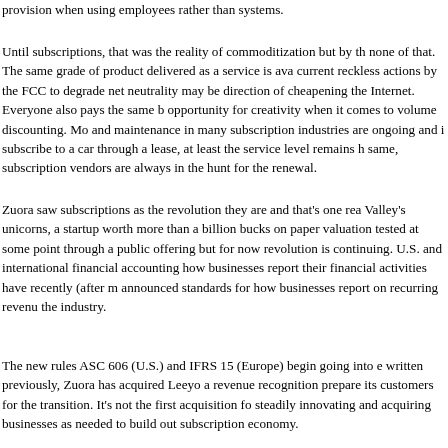provision when using employees rather than systems.
Until subscriptions, that was the reality of commoditization but by th none of that. The same grade of product delivered as a service is ava current reckless actions by the FCC to degrade net neutrality may be direction of cheapening the Internet. Everyone also pays the same b opportunity for creativity when it comes to volume discounting. Mo and maintenance in many subscription industries are ongoing and i subscribe to a car through a lease, at least the service level remains h same, subscription vendors are always in the hunt for the renewal.
Zuora saw subscriptions as the revolution they are and that's one rea Valley's unicorns, a startup worth more than a billion bucks on paper valuation tested at some point through a public offering but for now revolution is continuing. U.S. and international financial accounting how businesses report their financial activities have recently (after m announced standards for how businesses report on recurring revenu the industry.
The new rules ASC 606 (U.S.) and IFRS 15 (Europe) begin going into e written previously, Zuora has acquired Leeyo a revenue recognition prepare its customers for the transition. It's not the first acquisition fo steadily innovating and acquiring businesses as needed to build out subscription economy.